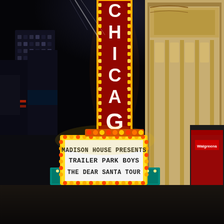[Figure (photo): Nighttime street photo of the Chicago Theatre marquee lit up with 'CHICAGO' in large vertical neon letters. The marquee below reads: 'MADISON HOUSE PRESENTS / TRAILER PARK BOYS / THE DEAR SANTA TOUR'. Two people stand in the foreground — a woman with blonde hair and a tall man with glasses — along with a crowd of people on the sidewalk. City skyscrapers are visible in the background against a dark night sky. The Chicago Theatre building facade is visible on the right side.]